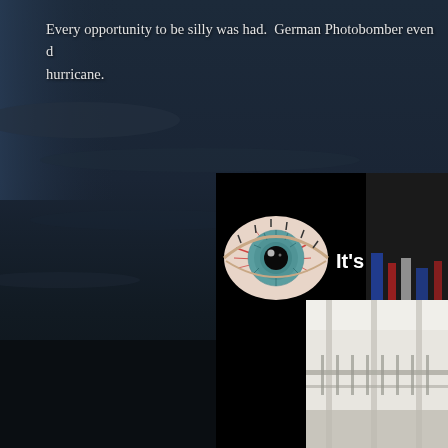[Figure (photo): Dark dramatic sky over German half-timbered buildings (Fachwerk architecture) at dusk or during stormy weather. Buildings are silhouetted against dark blue-grey sky with faint clouds.]
Every opportunity to be silly was had.  German Photobomber even during a hurricane.
[Figure (screenshot): Embedded video thumbnail showing a cartoon/graphic eyeball on black background with text 'It's a b' (truncated). To the right portion shows a real photo of colorful decorations or items.]
[Figure (photo): Small bottom-right photo showing interior space with white walls and railings.]